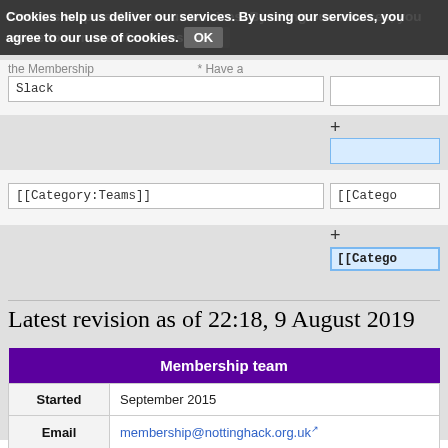Cookies help us deliver our services. By using our services, you agree to our use of cookies. OK
Slack
[[Category:Teams]]
[[Catego
[[Catego
Latest revision as of 22:18, 9 August 2019
| Membership team |
| --- |
| Started | September 2015 |
| Email | membership@nottinghack.org.uk |
| Slack | Membership channel |
| Members | Team members listed on HMS. |